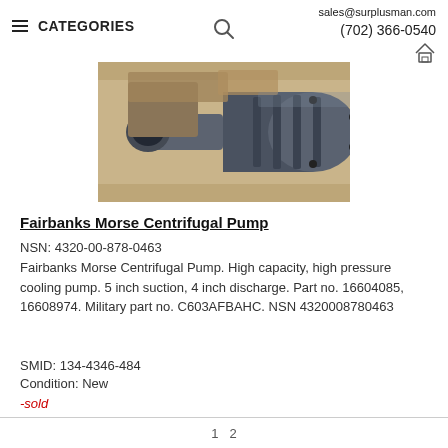sales@surplusman.com  (702) 366-0540  | CATEGORIES
[Figure (photo): Photo of a Fairbanks Morse Centrifugal Pump, a large industrial pump in a wooden crate, dark metallic with a cylindrical body and flanged connections]
Fairbanks Morse Centrifugal Pump
NSN: 4320-00-878-0463
Fairbanks Morse Centrifugal Pump. High capacity, high pressure cooling pump. 5 inch suction, 4 inch discharge. Part no. 16604085, 16608974. Military part no. C603AFBAHC. NSN 4320008780463
SMID: 134-4346-484
Condition: New
-sold
1   2